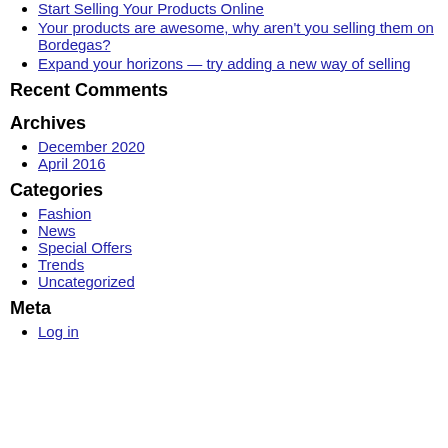Start Selling Your Products Online
Your products are awesome, why aren't you selling them on Bordegas?
Expand your horizons — try adding a new way of selling
Recent Comments
Archives
December 2020
April 2016
Categories
Fashion
News
Special Offers
Trends
Uncategorized
Meta
Log in